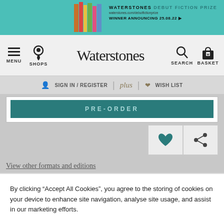[Figure (screenshot): Waterstones website banner for Debut Fiction Prize, winner announcing 25.08.22]
MENU  SHOPS  Waterstones  SEARCH  BASKET
SIGN IN / REGISTER  |  plus  |  WISH LIST
PRE-ORDER
[Figure (other): Heart (wishlist) and share icons]
View other formats and editions
SYNOPSIS
By clicking “Accept All Cookies”, you agree to the storing of cookies on your device to enhance site navigation, analyse site usage, and assist in our marketing efforts.